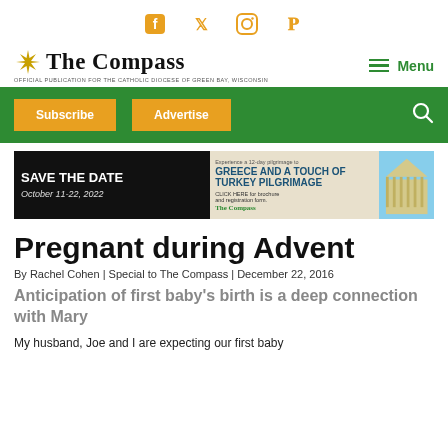[Figure (other): Social media icons: Facebook, Twitter, Instagram, Pinterest in golden/yellow color]
[Figure (logo): The Compass logo with starburst icon and tagline: Official Publication for the Catholic Diocese of Green Bay, Wisconsin]
[Figure (other): Navigation menu button with hamburger icon and Menu label in green]
[Figure (other): Green navigation bar with Subscribe and Advertise buttons in gold and a search icon]
[Figure (other): Advertisement banner: Save the Date October 11-22, 2022 - Greece and a Touch of Turkey Pilgrimage - Click Here for brochure and registration form - The Compass]
Pregnant during Advent
By Rachel Cohen | Special to The Compass | December 22, 2016
Anticipation of first baby’s birth is a deep connection with Mary
My husband, Joe and I are expecting our first baby